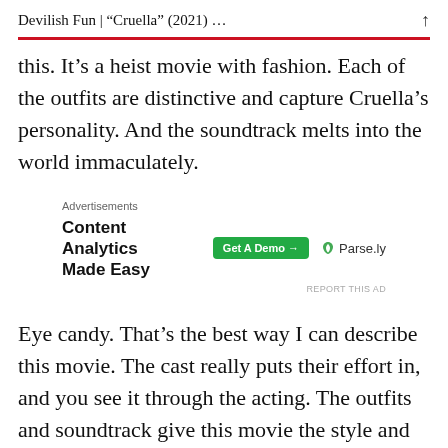Devilish Fun | “Cruella” (2021) …
this. It’s a heist movie with fashion. Each of the outfits are distinctive and capture Cruella’s personality. And the soundtrack melts into the world immaculately.
[Figure (screenshot): Advertisement banner for Parse.ly: ‘Content Analytics Made Easy’ with a green ‘Get A Demo’ button and Parse.ly logo]
Eye candy. That’s the best way I can describe this movie. The cast really puts their effort in, and you see it through the acting. The outfits and soundtrack give this movie the style and flair that makes up the